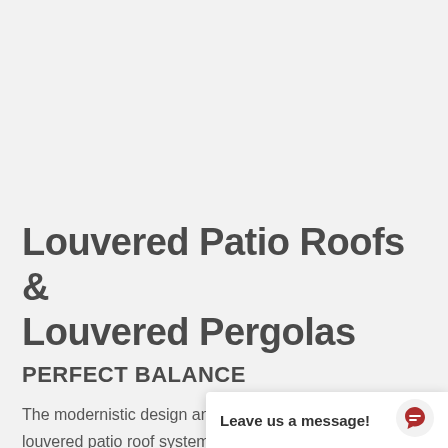Louvered Patio Roofs & Louvered Pergolas
PERFECT BALANCE
The modernistic design and function of a Pergolaire louvered patio roof system redefines the concept of outdoor style. Trueline prides themselves on delivering the finest quality louvered p... your outdoor spaces. Fr...